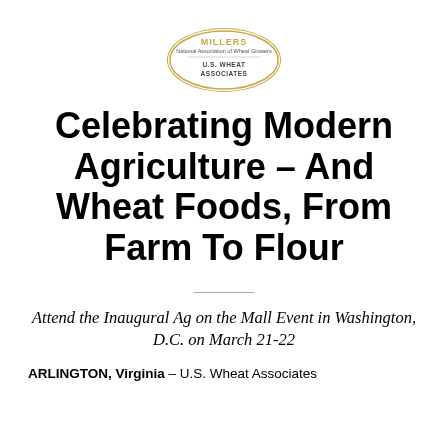[Figure (logo): Oval logo with golden border containing text: MILLERS (in gold), National Association of Wheat Growers, U.S. WHEAT ASSOCIATES]
Celebrating Modern Agriculture – And Wheat Foods, From Farm To Flour
Attend the Inaugural Ag on the Mall Event in Washington, D.C. on March 21-22
ARLINGTON, Virginia – U.S. Wheat Associates